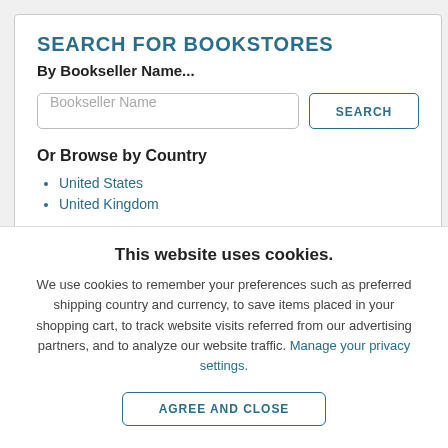SEARCH FOR BOOKSTORES
By Bookseller Name...
Bookseller Name [input field] | SEARCH [button]
Or Browse by Country
United States
United Kingdom
This website uses cookies.
We use cookies to remember your preferences such as preferred shipping country and currency, to save items placed in your shopping cart, to track website visits referred from our advertising partners, and to analyze our website traffic. Manage your privacy settings.
AGREE AND CLOSE